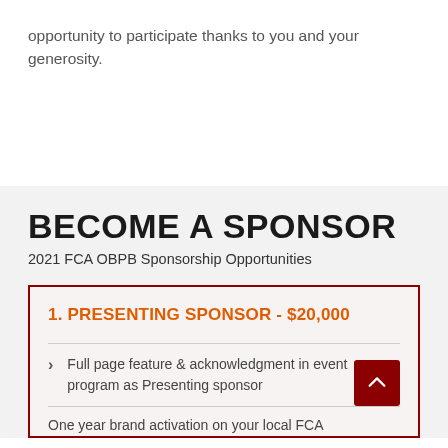opportunity to participate thanks to you and your generosity.
BECOME A SPONSOR
2021 FCA OBPB Sponsorship Opportunities
1. PRESENTING SPONSOR - $20,000
Full page feature & acknowledgment in event program as Presenting sponsor
One year brand activation on your local FCA